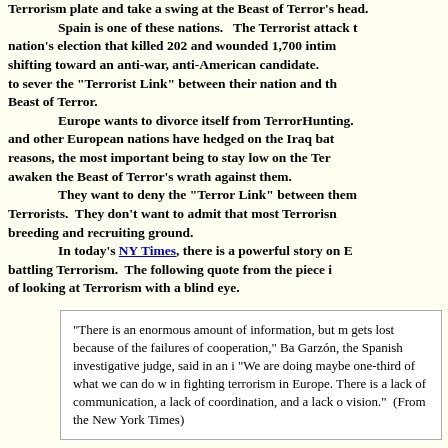Terrorism plate and take a swing at the Beast of Terror's head. Spain is one of these nations. The Terrorist attack to the nation's election that killed 202 and wounded 1,700 intimidated shifting toward an anti-war, anti-American candidate. to sever the "Terrorist Link" between their nation and the Beast of Terror. Europe wants to divorce itself from TerrorHunting. and other European nations have hedged on the Iraq battle for reasons, the most important being to stay low on the Terror awaken the Beast of Terror's wrath against them. They want to deny the "Terror Link" between them and Terrorists. They don't want to admit that most Terrorism breeding and recruiting ground. In today's NY Times, there is a powerful story on Europe battling Terrorism. The following quote from the piece illustrates the danger of looking at Terrorism with a blind eye.
"There is an enormous amount of information, but much of it gets lost because of the failures of cooperation," Baltasar Garzón, the Spanish investigative judge, said in an interview. "We are doing maybe one-third of what we can do when it comes to in fighting terrorism in Europe. There is a lack of communication, a lack of coordination, and a lack of vision." (From the New York Times)